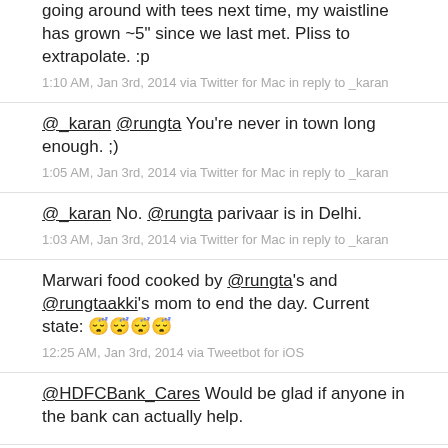going around with tees next time, my waistline has grown ~5" since we last met. Pliss to extrapolate. :p
1:10 AM, Jan 3rd, 2014 via Twitter for Mac in reply to _karan
@_karan @rungta You're never in town long enough. ;)
1:05 AM, Jan 3rd, 2014 via Twitter for Mac in reply to _karan
@_karan No. @rungta parivaar is in Delhi.
1:03 AM, Jan 3rd, 2014 via Twitter for Mac in reply to _karan
Marwari food cooked by @rungta's and @rungtaakki's mom to end the day. Current state: 😴😴😴😴
12:25 AM, Jan 3rd, 2014 via Tweetbot for iOS
@HDFCBank_Cares Would be glad if anyone in the bank can actually help.